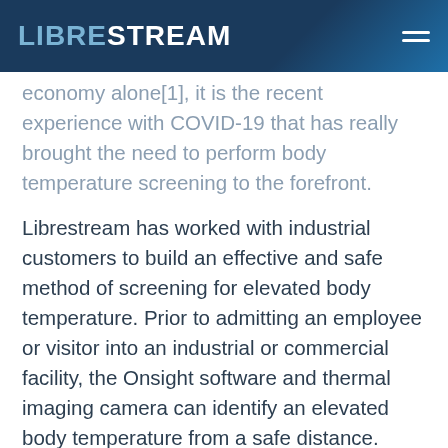LIBRESTREAM
economy alone[1], it is the recent experience with COVID-19 that has really brought the need to perform body temperature screening to the forefront.
Librestream has worked with industrial customers to build an effective and safe method of screening for elevated body temperature. Prior to admitting an employee or visitor into an industrial or commercial facility, the Onsight software and thermal imaging camera can identify an elevated body temperature from a safe distance.